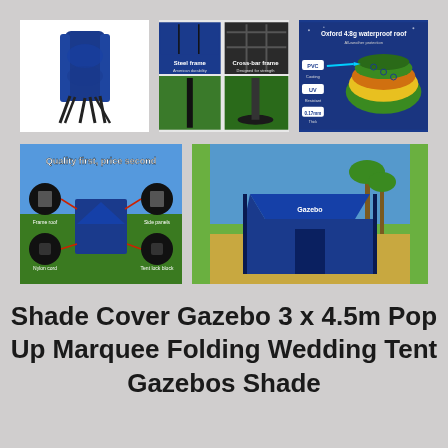[Figure (photo): Folded blue gazebo canopy tent frame leaning against white background]
[Figure (photo): Comparison of Steel frame and Cross-bar frame with close-up images on grass background]
[Figure (photo): Oxford 4.8g waterproof roof diagram showing PVC coating, UV resistant and 0.17mm layers on blue and green background]
[Figure (photo): Quality first, price second infographic showing blue gazebo tent components on grass]
[Figure (photo): Blue pop-up gazebo marquee tent set up on beach with palm trees]
Shade Cover Gazebo 3 x 4.5m Pop Up Marquee Folding Wedding Tent Gazebos Shade